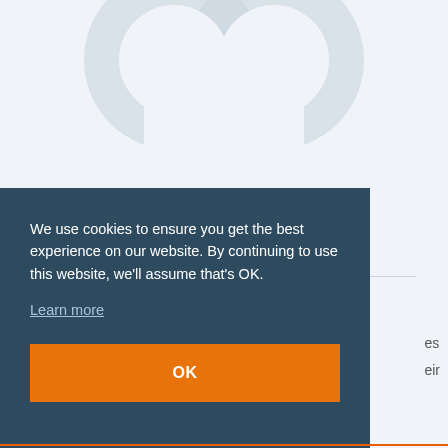[Figure (logo): Backbone Connect logo icon — large stylized letter mark in light gray on a light blue-gray background, partially cropped at top]
Backbone Connect
We use cookies to ensure you get the best experience on our website. By continuing to use this website, we'll assume that's OK.
Learn more
OK